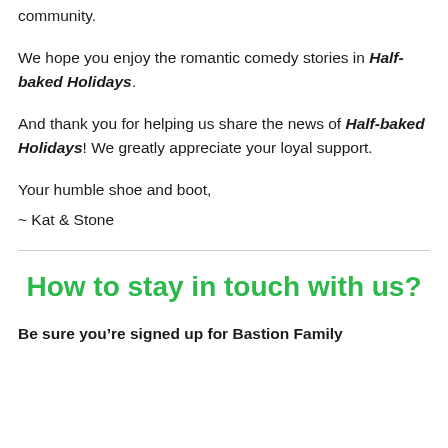community.
We hope you enjoy the romantic comedy stories in Half-baked Holidays.
And thank you for helping us share the news of Half-baked Holidays! We greatly appreciate your loyal support.
Your humble shoe and boot,
~ Kat & Stone
How to stay in touch with us?
Be sure you’re signed up for Bastion Family